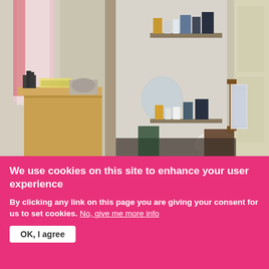[Figure (photo): Interior photo showing a small kitchen area on the left with wooden cabinets and countertop with items on it, and a bathroom visible through a doorway on the right with sink, toilet, shelves with toiletries, and a towel hanging on a cream-colored door.]
We use cookies on this site to enhance your user experience
By clicking any link on this page you are giving your consent for us to set cookies. No, give me more info
OK, I agree